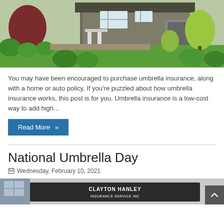[Figure (photo): Exterior photo of a suburban house with green landscaping, bushes, trees, stone retaining wall, and lush lawn.]
You may have been encouraged to purchase umbrella insurance, along with a home or auto policy. If you're puzzled about how umbrella insurance works, this post is for you. Umbrella insurance is a low-cost way to add high...
Read More »
National Umbrella Day
Wednesday, February 10, 2021
[Figure (photo): Partial photo of a building with a sign reading CLAYTON HANLEY INSURANCE SERVICE INC.]